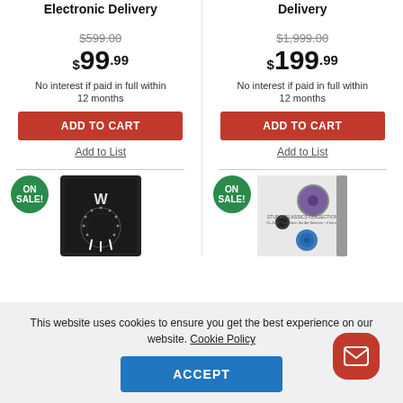Electronic Delivery
Delivery
$599.00 (strikethrough)
$99.99
No interest if paid in full within 12 months
$1,999.00 (strikethrough)
$199.99
No interest if paid in full within 12 months
ADD TO CART
ADD TO CART
Add to List
Add to List
[Figure (photo): Product box - dark/black software box with ON SALE badge]
[Figure (photo): Product box - Studio Classics Collection, light colored box with ON SALE badge]
This website uses cookies to ensure you get the best experience on our website. Cookie Policy
ACCEPT